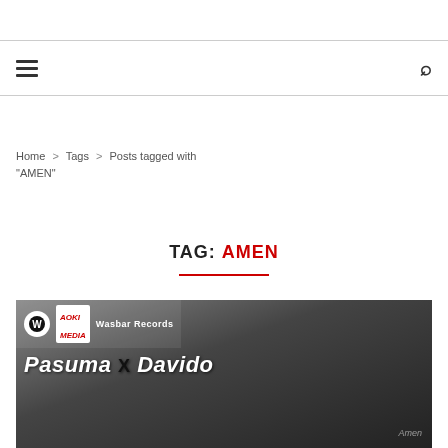Navigation bar with hamburger menu and search icon
Home > Tags > Posts tagged with "AMEN"
TAG: AMEN
[Figure (photo): Album cover for Pasuma x Davido collaboration on Wasbar Records, showing both artists, with logos for Wasbar Records and Aoki Media at the top.]